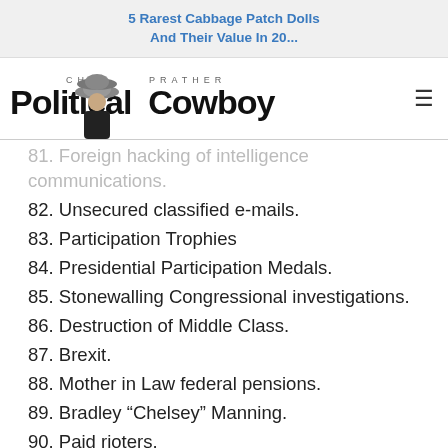5 Rarest Cabbage Patch Dolls And Their Value In 20...
[Figure (logo): Chad Prather Political Cowboy logo with photo of man in cowboy hat]
81. Foreign hacking of intelligence communications.
82. Unsecured classified e-mails.
83. Participation Trophies
84. Presidential Participation Medals.
85. Stonewalling Congressional investigations.
86. Destruction of Middle Class.
87. Brexit.
88. Mother in Law federal pensions.
89. Bradley “Chelsey” Manning.
90. Paid rioters.
91. (partially visible)